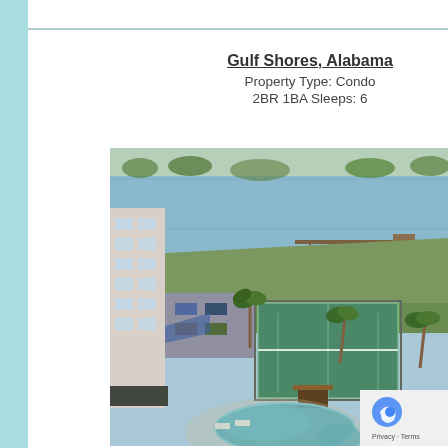Gulf Shores, Alabama
Property Type: Condo
2BR 1BA Sleeps: 6
[Figure (photo): Aerial view of a Gulf Shores Alabama condo complex showing a pool area, tennis courts, parking lot, waterfront dock, and the bay/inlet in the background with palm trees throughout the property grounds.]